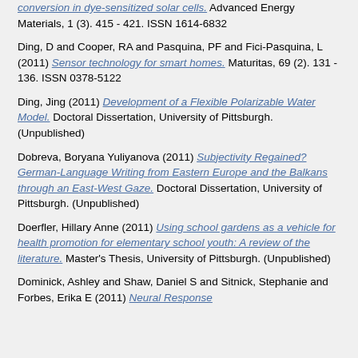conversion in dye-sensitized solar cells. Advanced Energy Materials, 1 (3). 415 - 421. ISSN 1614-6832
Ding, D and Cooper, RA and Pasquina, PF and Fici-Pasquina, L (2011) Sensor technology for smart homes. Maturitas, 69 (2). 131 - 136. ISSN 0378-5122
Ding, Jing (2011) Development of a Flexible Polarizable Water Model. Doctoral Dissertation, University of Pittsburgh. (Unpublished)
Dobreva, Boryana Yuliyanova (2011) Subjectivity Regained? German-Language Writing from Eastern Europe and the Balkans through an East-West Gaze. Doctoral Dissertation, University of Pittsburgh. (Unpublished)
Doerfler, Hillary Anne (2011) Using school gardens as a vehicle for health promotion for elementary school youth: A review of the literature. Master's Thesis, University of Pittsburgh. (Unpublished)
Dominick, Ashley and Shaw, Daniel S and Sitnick, Stephanie and Forbes, Erika E (2011) Neural Response